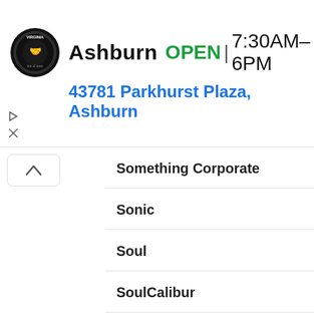[Figure (screenshot): Virginia Tire & Auto logo — circular black badge with 'tire & auto' text and handshake icon]
Ashburn  OPEN  7:30AM–6PM
43781 Parkhurst Plaza, Ashburn
[Figure (other): Blue diamond navigation/directions icon]
Something Corporate
Sonic
Soul
SoulCalibur
Spaceman Spiff
Spice Girls
Splatoon
Spring Awakening
Staind